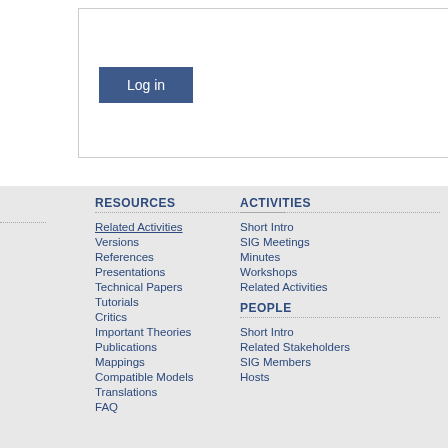[Figure (screenshot): Login box with a blue 'Log in' button]
RESOURCES
Related Activities
Versions
References
Presentations
Technical Papers
Tutorials
Critics
Important Theories
Publications
Mappings
Compatible Models
Translations
FAQ
ACTIVITIES
Short Intro
SIG Meetings
Minutes
Workshops
Related Activities
PEOPLE
Short Intro
Related Stakeholders
SIG Members
Hosts